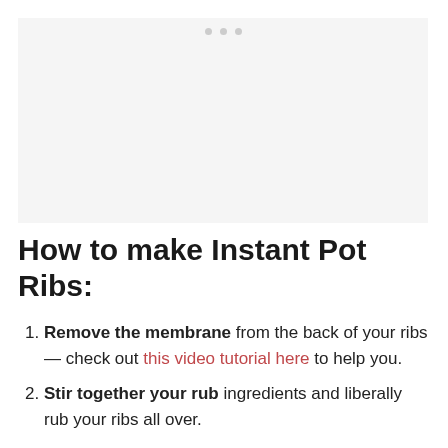[Figure (photo): Placeholder image area with navigation dots, appears to be a photo carousel for Instant Pot Ribs recipe]
How to make Instant Pot Ribs:
Remove the membrane from the back of your ribs — check out this video tutorial here to help you.
Stir together your rub ingredients and liberally rub your ribs all over.